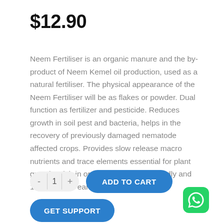$12.90
Neem Fertiliser is an organic manure and the by-product of Neem Kemel oil production, used as a natural fertiliser. The physical appearance of the Neem Fertiliser will be as flakes or powder. Dual function as fertilizer and pesticide. Reduces growth in soil pest and bacteria, helps in the recovery of previously damaged nematode affected crops. Provides slow release macro nutrients and trace elements essential for plant growth. Rich in organic carbon, ecofriendly and 100% safe to earthworms.
[Figure (other): Quantity selector with minus button, 1, plus button, and ADD TO CART button]
[Figure (other): GET SUPPORT button (blue rounded)]
[Figure (logo): WhatsApp icon — green rounded square with white phone speech bubble]